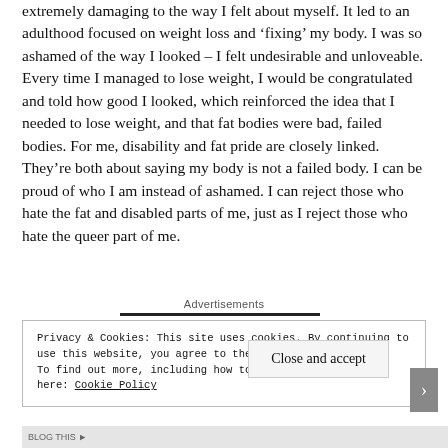extremely damaging to the way I felt about myself. It led to an adulthood focused on weight loss and 'fixing' my body. I was so ashamed of the way I looked – I felt undesirable and unloveable. Every time I managed to lose weight, I would be congratulated and told how good I looked, which reinforced the idea that I needed to lose weight, and that fat bodies were bad, failed bodies. For me, disability and fat pride are closely linked. They're both about saying my body is not a failed body. I can be proud of who I am instead of ashamed. I can reject those who hate the fat and disabled parts of me, just as I reject those who hate the queer part of me.
Advertisements
Privacy & Cookies: This site uses cookies. By continuing to use this website, you agree to their use.
To find out more, including how to control cookies, see here: Cookie Policy
Close and accept